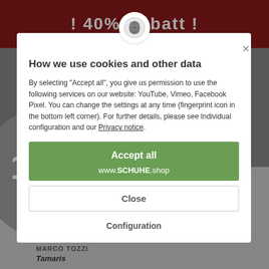[Figure (screenshot): Website cookie consent modal dialog overlaying a shoe shop website. The background shows a dark red banner with '! 40% Rabatt !' text, watermark text 'As of 01.09. Rieker-Shop becomes Schuhe.Shop', a gray circle promotional badge showing 'from 01.09. 10%* New customer discount', brand logos Marco Tozzi and Tamaris at bottom. The foreground modal has a fingerprint icon at top, title 'How we use cookies and other data', explanatory text, and three action items: green 'Accept all' button with 'www.SCHUHE.shop', outlined 'Close' button, and 'Configuration' text link.]
How we use cookies and other data
By selecting "Accept all", you give us permission to use the following services on our website: YouTube, Vimeo, Facebook Pixel. You can change the settings at any time (fingerprint icon in the bottom left corner). For further details, please see Individual configuration and our Privacy notice.
Accept all
www.SCHUHE.shop
Close
Configuration